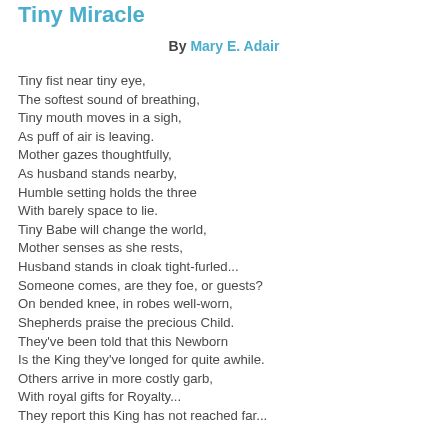Tiny Miracle
By Mary E. Adair
Tiny fist near tiny eye,
The softest sound of breathing,
Tiny mouth moves in a sigh,
As puff of air is leaving.
Mother gazes thoughtfully,
As husband stands nearby,
Humble setting holds the three
With barely space to lie.
Tiny Babe will change the world,
Mother senses as she rests,
Husband stands in cloak tight-furled...
Someone comes, are they foe, or guests?
On bended knee, in robes well-worn,
Shepherds praise the precious Child.
They've been told that this Newborn
Is the King they've longed for quite awhile.
Others arrive in more costly garb,
With royal gifts for Royalty...
They report this King has not reached far...